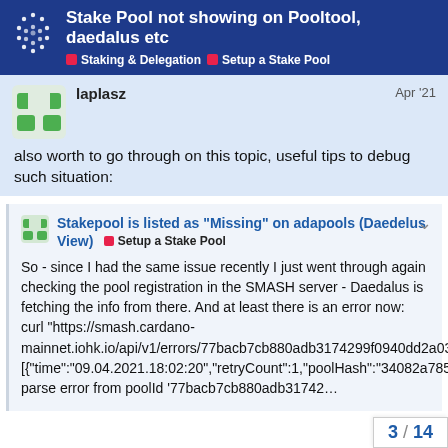Stake Pool not showing on Pooltool, daedalus etc | Staking & Delegation | Setup a Stake Pool
also worth to go through on this topic, useful tips to debug such situation:
Stakepool is listed as "Missing" on adapools (Daedelus View) Setup a Stake Pool
So - since I had the same issue recently I just went through again checking the pool registration in the SMASH server - Daedalus is fetching the info from there. And at least there is an error now: curl "https://smash.cardano-mainnet.iohk.io/api/v1/errors/77bacb7cb880adb3174299f0940dd2a0380beb376ee412e650172f94" [{"time":"09.04.2021.18:02:20","retryCount":1,"poolHash":"34082a7853367db1937b897cd853d23413287a2e544bad617f0aa7d12573703e","cause":"URL parse error from poolId '77bacb7cb880adb31742...
3 / 14